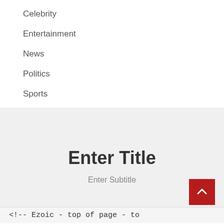Celebrity
Entertainment
News
Politics
Sports
Enter Title
Enter Subtitle
<!-- Ezoic - top of page - to